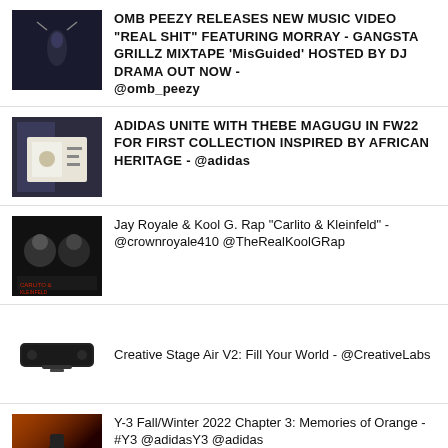OMB PEEZY RELEASES NEW MUSIC VIDEO "REAL SHIT" FEATURING MORRAY - GANGSTA GRILLZ MIXTAPE 'MisGuided' HOSTED BY DJ DRAMA OUT NOW - @omb_peezy
ADIDAS UNITE WITH THEBE MAGUGU IN FW22 FOR FIRST COLLECTION INSPIRED BY AFRICAN HERITAGE - @adidas
Jay Royale & Kool G. Rap "Carlito & Kleinfeld" - @crownroyale410 @TheRealKoolGRap
Creative Stage Air V2: Fill Your World - @CreativeLabs
Y-3 Fall/Winter 2022 Chapter 3: Memories of Orange - #Y3 @adidasY3 @adidas